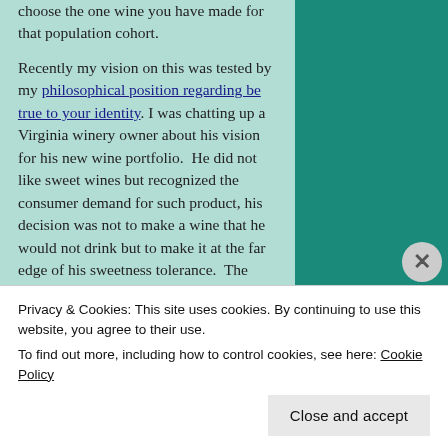choose the one wine you have made for that population cohort.

Recently my vision on this was tested by my philosophical position regarding be true to your identity. I was chatting up a Virginia winery owner about his vision for his new wine portfolio.  He did not like sweet wines but recognized the consumer demand for such product, his decision was not to make a wine that he would not drink but to make it at the far edge of his sweetness tolerance.  The resulting 1% residual sugar wine is consistent with his winery vision (and palate) while providing a sweeter wine for that percentage  of the wine
Privacy & Cookies: This site uses cookies. By continuing to use this website, you agree to their use.
To find out more, including how to control cookies, see here: Cookie Policy